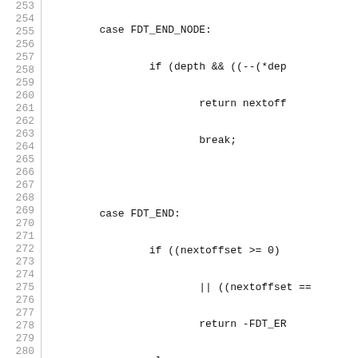[Figure (screenshot): Source code listing lines 253–282 showing C functions fdt_first_subnode and fdt_next_subnode with line numbers on the left side]